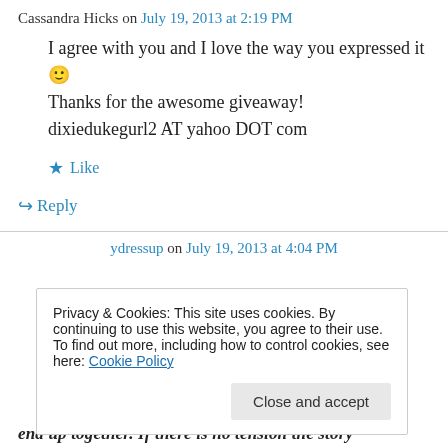Cassandra Hicks on July 19, 2013 at 2:19 PM
I agree with you and I love the way you expressed it 🙂
Thanks for the awesome giveaway!
dixiedukegurl2 AT yahoo DOT com
★ Like
↵ Reply
ydressup on July 19, 2013 at 4:04 PM
Privacy & Cookies: This site uses cookies. By continuing to use this website, you agree to their use.
To find out more, including how to control cookies, see here: Cookie Policy
Close and accept
end up together. If there is no tension the story